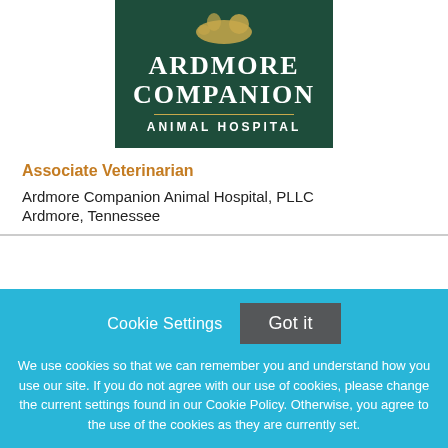[Figure (logo): Ardmore Companion Animal Hospital logo — dark green rectangle with stylized golden animal graphic, large white serif text 'ARDMORE COMPANION', gold horizontal divider line, white sans-serif text 'ANIMAL HOSPITAL']
Associate Veterinarian
Ardmore Companion Animal Hospital, PLLC
Ardmore, Tennessee
Cookie Settings  Got it
We use cookies so that we can remember you and understand how you use our site. If you do not agree with our use of cookies, please change the current settings found in our Cookie Policy. Otherwise, you agree to the use of the cookies as they are currently set.